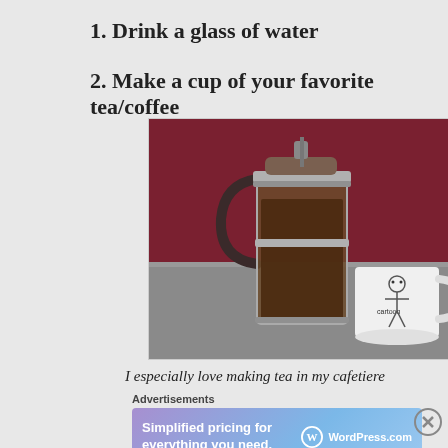1. Drink a glass of water
2. Make a cup of your favorite tea/coffee
[Figure (photo): A French press cafetiere filled with dark tea/coffee next to a white mug with a cartoon drawing, on a grey countertop with a dark red/maroon wall behind.]
I especially love making tea in my cafetiere
Advertisements
[Figure (other): WordPress.com advertisement banner: 'Simplified pricing for everything you need.' with WordPress.com logo]